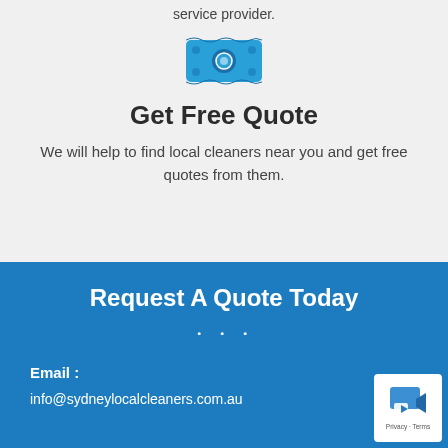service provider.
[Figure (illustration): Blue money/cash bill emoji icon]
Get Free Quote
We will help to find local cleaners near you and get free quotes from them.
Request A Quote Today
...
Email :
info@sydneylocalcleaners.com.au